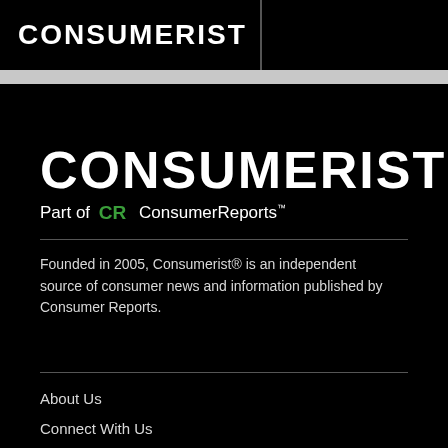CONSUMERIST
[Figure (logo): CONSUMERIST logo large white text on black background, with tagline 'Part of CR ConsumerReports']
Founded in 2005, Consumerist® is an independent source of consumer news and information published by Consumer Reports.
About Us
Connect With Us